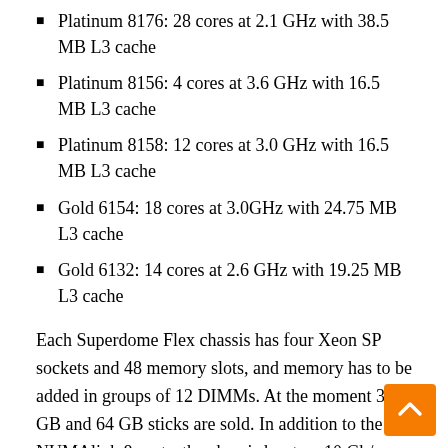Platinum 8176: 28 cores at 2.1 GHz with 38.5 MB L3 cache
Platinum 8156: 4 cores at 3.6 GHz with 16.5 MB L3 cache
Platinum 8158: 12 cores at 3.0 GHz with 16.5 MB L3 cache
Gold 6154: 18 cores at 3.0GHz with 24.75 MB L3 cache
Gold 6132: 14 cores at 2.6 GHz with 19.25 MB L3 cache
Each Superdome Flex chassis has four Xeon SP sockets and 48 memory slots, and memory has to be added in groups of 12 DIMMs. At the moment 32 GB and 64 GB sticks are sold. In addition to the NUMAlink 8 ports, the chassis has two 10 Gb/sec Ethernet ports for talking to the outside world and four 2.5-inch drive bays for local storage. There are three variants of I/O on the nod one with no PCI-Express 3.0 slots and aimed solely at compute expansion; one with five x16 slots and seven x8